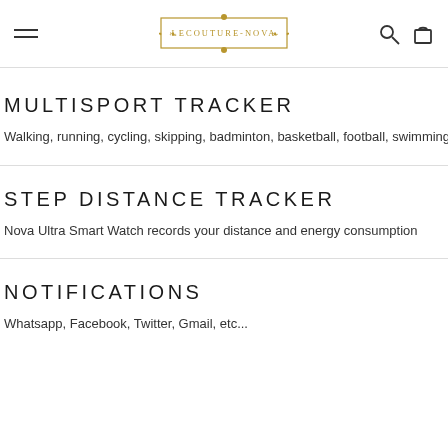LECOUTURE-NOVA (logo/navigation header)
MULTISPORT TRACKER
Walking, running, cycling, skipping, badminton, basketball, football, swimming (hea...
STEP DISTANCE TRACKER
Nova Ultra Smart Watch records your distance and energy consumption
NOTIFICATIONS
Whatsapp, Facebook, Twitter, Gmail, etc...